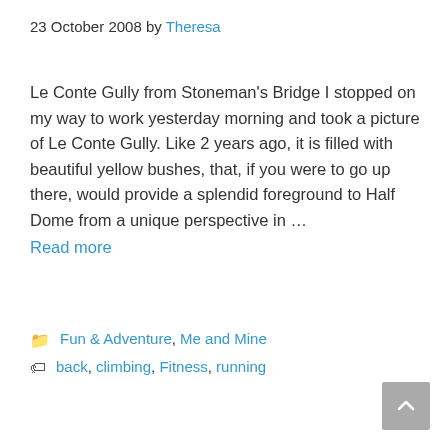23 October 2008 by Theresa
Le Conte Gully from Stoneman's Bridge I stopped on my way to work yesterday morning and took a picture of Le Conte Gully. Like 2 years ago, it is filled with beautiful yellow bushes, that, if you were to go up there, would provide a splendid foreground to Half Dome from a unique perspective in … Read more
Fun & Adventure, Me and Mine
back, climbing, Fitness, running